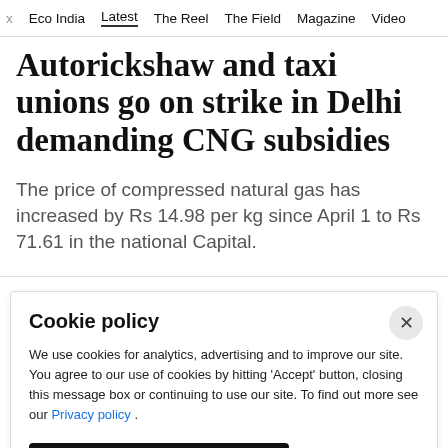Eco India   Latest   The Reel   The Field   Magazine   Video
Autorickshaw and taxi unions go on strike in Delhi demanding CNG subsidies
The price of compressed natural gas has increased by Rs 14.98 per kg since April 1 to Rs 71.61 in the national Capital.
Cookie policy
We use cookies for analytics, advertising and to improve our site. You agree to our use of cookies by hitting 'Accept' button, closing this message box or continuing to use our site. To find out more see our Privacy policy .
Accept